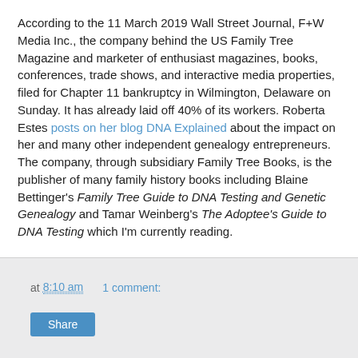According to the 11 March 2019 Wall Street Journal, F+W Media Inc., the company behind the US Family Tree Magazine and marketer of enthusiast magazines, books, conferences, trade shows, and interactive media properties, filed for Chapter 11 bankruptcy in Wilmington, Delaware on Sunday. It has already laid off 40% of its workers. Roberta Estes posts on her blog DNA Explained about the impact on her and many other independent genealogy entrepreneurs. The company, through subsidiary Family Tree Books, is the publisher of many family history books including Blaine Bettinger's Family Tree Guide to DNA Testing and Genetic Genealogy and Tamar Weinberg's The Adoptee's Guide to DNA Testing which I'm currently reading.
at 8:10 am   1 comment:   Share